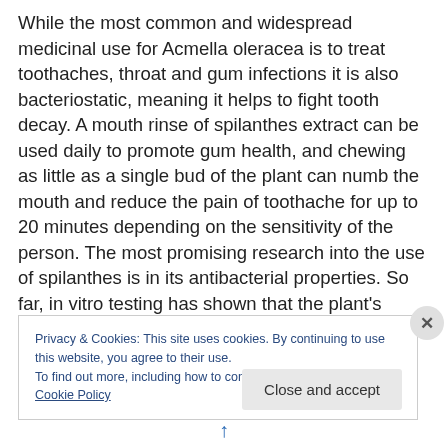While the most common and widespread medicinal use for Acmella oleracea is to treat toothaches, throat and gum infections it is also bacteriostatic, meaning it helps to fight tooth decay. A mouth rinse of spilanthes extract can be used daily to promote gum health, and chewing as little as a single bud of the plant can numb the mouth and reduce the pain of toothache for up to 20 minutes depending on the sensitivity of the person. The most promising research into the use of spilanthes is in its antibacterial properties. So far, in vitro testing has shown that the plant's extract has strong effect against E.coli, pseudomonas,
Privacy & Cookies: This site uses cookies. By continuing to use this website, you agree to their use.
To find out more, including how to control cookies, see here: Cookie Policy